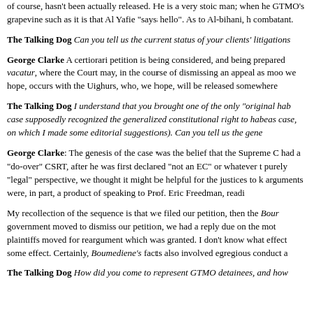of course, hasn't been actually released. He is a very stoic man; when he GTMO's grapevine such as it is that Al Yafie "says hello". As to Al-bihani, h combatant.
The Talking Dog Can you tell us the current status of your clients' litigations
George Clarke A certiorari petition is being considered, and being prepared vacatur, where the Court may, in the course of dismissing an appeal as moo we hope, occurs with the Uighurs, who, we hope, will be released somewhere
The Talking Dog I understand that you brought one of the only "original hab case supposedly recognized the generalized constitutional right to habeas case, on which I made some editorial suggestions). Can you tell us the gene
George Clarke: The genesis of the case was the belief that the Supreme C had a "do-over" CSRT, after he was first declared "not an EC" or whatever t purely "legal" perspective, we thought it might be helpful for the justices to k arguments were, in part, a product of speaking to Prof. Eric Freedman, readi
My recollection of the sequence is that we filed our petition, then the Bour government moved to dismiss our petition, we had a reply due on the mot plaintiffs moved for reargument which was granted. I don't know what effect some effect. Certainly, Boumediene's facts also involved egregious conduct a
The Talking Dog How did you come to represent GTMO detainees, and how